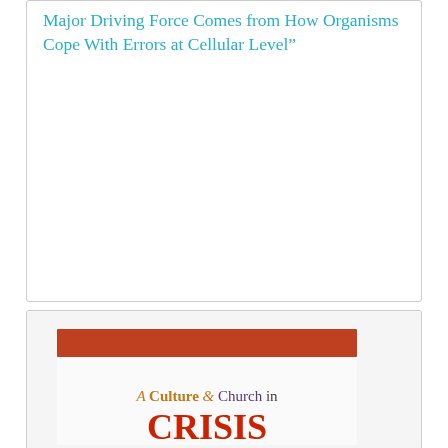Major Driving Force Comes from How Organisms Cope With Errors at Cellular Level"
Perhaps it’s best if we begin by quoting the opening paragraph of the University of Arizona press release on the research:
[Figure (illustration): Book or website image showing 'A Culture & Church in CRISIS' text with colorful lettering and a dark red horizontal banner at top]